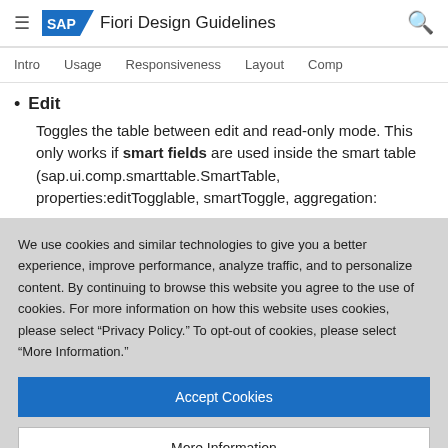SAP Fiori Design Guidelines
Intro | Usage | Responsiveness | Layout | Comp
Edit
Toggles the table between edit and read-only mode. This only works if smart fields are used inside the smart table (sap.ui.comp.smarttable.SmartTable, properties:editTogglable, smartToggle, aggregation:
We use cookies and similar technologies to give you a better experience, improve performance, analyze traffic, and to personalize content. By continuing to browse this website you agree to the use of cookies. For more information on how this website uses cookies, please select “Privacy Policy.” To opt-out of cookies, please select “More Information.”
Accept Cookies
More Information
Privacy Policy | Powered by: TrustArc
Export to Spreadsheet